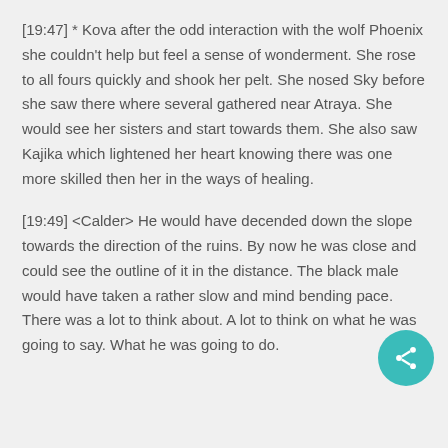[19:47] * Kova after the odd interaction with the wolf Phoenix she couldn't help but feel a sense of wonderment. She rose to all fours quickly and shook her pelt. She nosed Sky before she saw there where several gathered near Atraya. She would see her sisters and start towards them. She also saw Kajika which lightened her heart knowing there was one more skilled then her in the ways of healing.
[19:49] <Calder> He would have decended down the slope towards the direction of the ruins. By now he was close and could see the outline of it in the distance. The black male would have taken a rather slow and mind bending pace. There was a lot to think about. A lot to think on what he was going to say. What he was going to do.